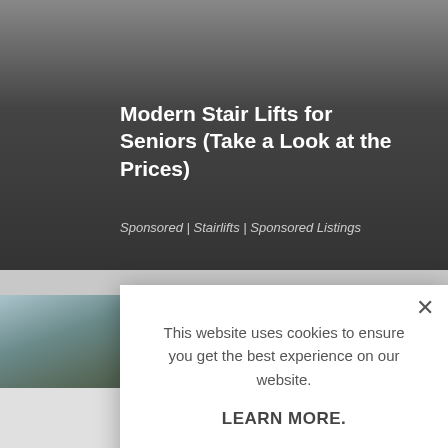Modern Stair Lifts for Seniors (Take a Look at the Prices)
Sponsored | Stairlifts | Sponsored Listings
This website uses cookies to ensure you get the best experience on our website.
LEARN MORE.
ACCEPT COOKIES